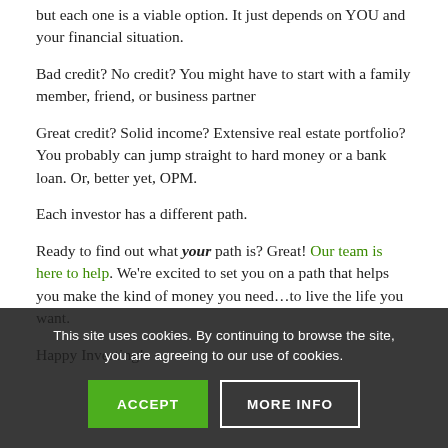but each one is a viable option. It just depends on YOU and your financial situation.
Bad credit? No credit? You might have to start with a family member, friend, or business partner
Great credit? Solid income? Extensive real estate portfolio? You probably can jump straight to hard money or a bank loan. Or, better yet, OPM.
Each investor has a different path.
Ready to find out what your path is? Great! Our team is here to help. We're excited to set you on a path that helps you make the kind of money you need…to live the life you want.
Happy Investing!
This site uses cookies. By continuing to browse the site, you are agreeing to our use of cookies.